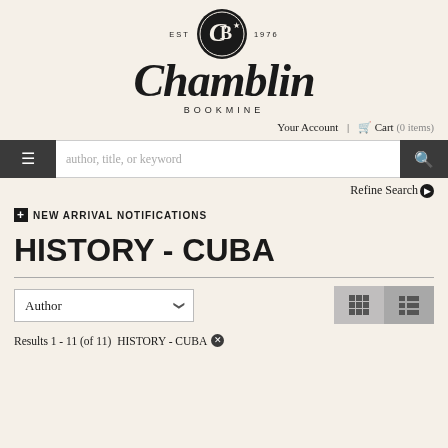[Figure (logo): Chamblin Bookmine logo with circular emblem showing CB monogram with star, EST 1976, and cursive Chamblin text with BOOKMINE below]
Your Account | Cart (0 items)
author, title, or keyword
Refine Search
NEW ARRIVAL NOTIFICATIONS
HISTORY - CUBA
Author
Results 1 - 11 (of 11) HISTORY - CUBA